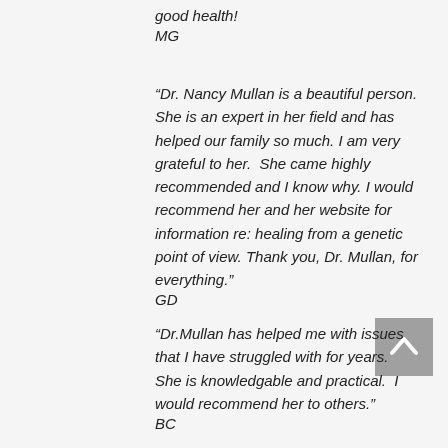good health!
MG
“Dr. Nancy Mullan is a beautiful person. She is an expert in her field and has helped our family so much. I am very grateful to her.  She came highly recommended and I know why. I would recommend her and her website for information re: healing from a genetic point of view. Thank you, Dr. Mullan, for everything."
GD
“Dr.Mullan has helped me with issues that I have struggled with for years.  She is knowledgable and practical.  I would recommend her to others."
BC
[Figure (other): Scroll-to-top button with upward chevron arrow on grey background]